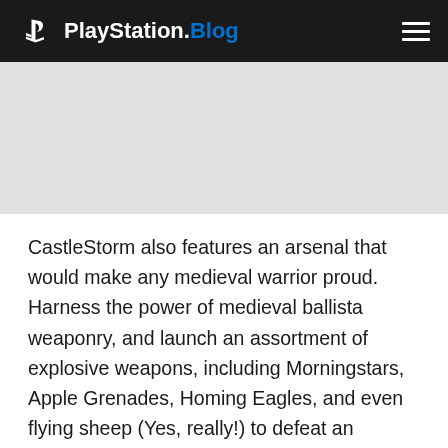PlayStation.Blog
[Figure (other): Gray image placeholder area below header]
CastleStorm also features an arsenal that would make any medieval warrior proud. Harness the power of medieval ballista weaponry, and launch an assortment of explosive weapons, including Morningstars, Apple Grenades, Homing Eagles, and even flying sheep (Yes, really!) to defeat an onslaught of enemies trying to capture your flag and destroy your castle.
Deploy a fearsome ground attack of swordsmen, knights,